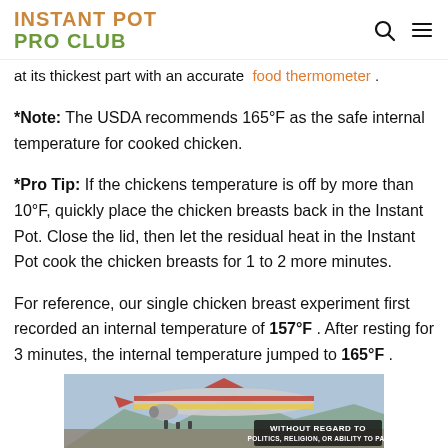INSTANT POT PRO CLUB
at its thickest part with an accurate food thermometer .
*Note: The USDA recommends 165°F as the safe internal temperature for cooked chicken.
*Pro Tip: If the chickens temperature is off by more than 10°F, quickly place the chicken breasts back in the Instant Pot. Close the lid, then let the residual heat in the Instant Pot cook the chicken breasts for 1 to 2 more minutes.
For reference, our single chicken breast experiment first recorded an internal temperature of 157°F . After resting for 3 minutes, the internal temperature jumped to 165°F .
[Figure (photo): Advertisement banner showing an airplane on a tarmac with cargo being loaded, with text overlay reading WITHOUT REGARD TO POLITICS, RELIGION, OR ABILITY TO PAY]